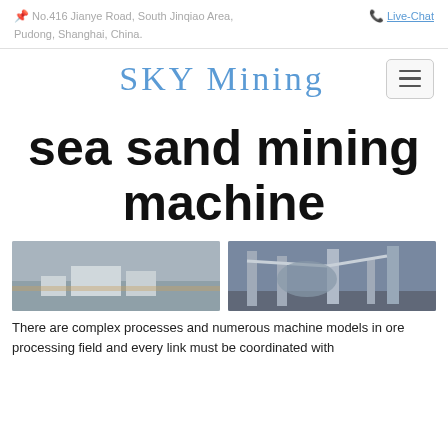No.416 Jianye Road, South Jinqiao Area, Pudong, Shanghai, China.  Live-Chat
[Figure (logo): SKY Mining company logo in blue serif text with hamburger menu button]
sea sand mining machine
[Figure (photo): Two photographs: left shows aerial view of an industrial mining facility in a dry landscape; right shows industrial processing machinery with metal structures and conveyor systems]
There are complex processes and numerous machine models in ore processing field and every link must be coordinated with